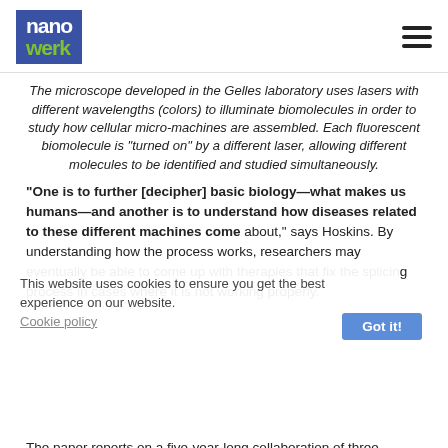nanowerk
The microscope developed in the Gelles laboratory uses lasers with different wavelengths (colors) to illuminate biomolecules in order to study how cellular micro-machines are assembled. Each fluorescent biomolecule is "turned on" by a different laser, allowing different molecules to be identified and studied simultaneously.
"One is to further [decipher] basic biology—what makes us humans—and another is to understand how diseases related to these different machines come about," says Hoskins. By understanding how the process works, researchers may eventually be able to come up with therapies that fix the splicing process in cases where it is not working properly.
This website uses cookies to ensure you get the best experience on our website.
Cookie policy
The paper reports on a five-year-long collaboration of three research laboratories with diverse expertise to study the splicing process. In addition to Hoskins, authors include: Gelles, the Aron and Imre Tauber professor of biochemistry and molecular